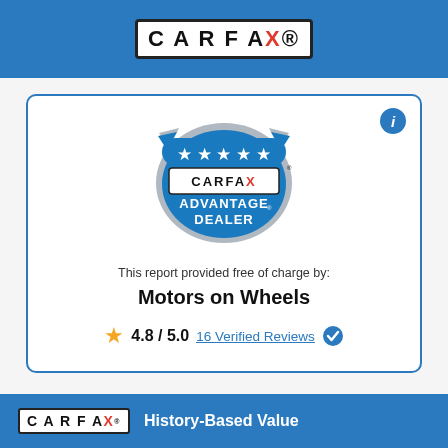CARFAX
[Figure (logo): CARFAX Advantage Dealer badge with stars and blue shield shape]
This report provided free of charge by:
Motors on Wheels
4.8 / 5.0  16 Verified Reviews
CARFAX History-Based Value